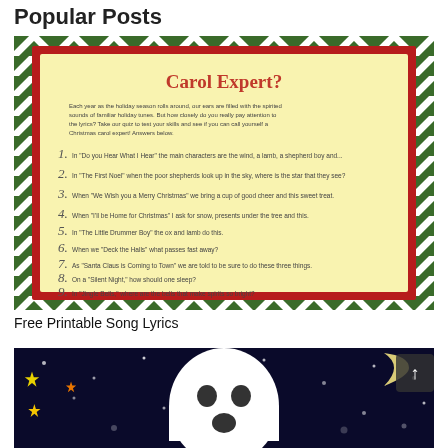Popular Posts
[Figure (illustration): Christmas Carol Expert quiz card with green and white chevron border, red inner border, yellow background, title 'Carol Expert?' in red, introductory text, and numbered quiz questions 1-9 about Christmas carol lyrics.]
Free Printable Song Lyrics
[Figure (photo): Ghost made from a white balloon or fabric on a dark blue starry background with yellow, orange and white stars and a crescent moon.]